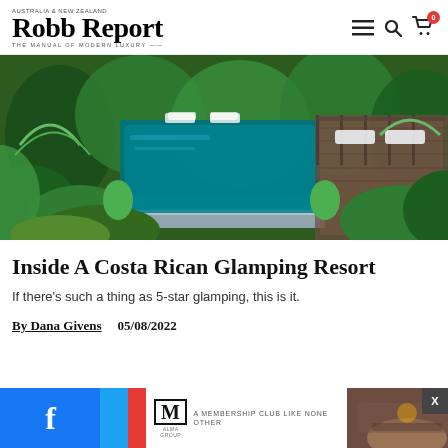Robb Report — AUSTRALIA & NEW ZEALAND — THE MANUAL OF MODERN LUXURY
[Figure (photo): Aerial/overhead view of a luxury tropical resort pool surrounded by lush green jungle foliage and palm plants, with white loungers and wooden deck areas visible, dark blue reflective pool water.]
Inside A Costa Rican Glamping Resort
If there's such a thing as 5-star glamping, this is it.
By Dana Givens   05/08/2022
[Figure (infographic): Bottom ad bar: Facebook share icon on blue background, Twitter blue strip, M membership club logo on white background with text 'A MEMBERSHIP CLUB LIKE NONE OTHER', red strip, interior room photo, X close button.]